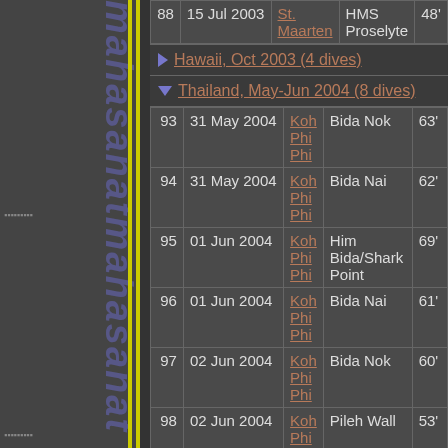| # | Date | Location | Site | Depth |
| --- | --- | --- | --- | --- |
| 88 | 15 Jul 2003 | St. Maarten | HMS Proselyte | 48' |
| 93 | 31 May 2004 | Koh Phi Phi | Bida Nok | 63' |
| 94 | 31 May 2004 | Koh Phi Phi | Bida Nai | 62' |
| 95 | 01 Jun 2004 | Koh Phi Phi | Him Bida/Shark Point | 69' |
| 96 | 01 Jun 2004 | Koh Phi Phi | Bida Nai | 61' |
| 97 | 02 Jun 2004 | Koh Phi Phi | Bida Nok | 60' |
| 98 | 02 Jun 2004 | Koh Phi Phi | Pileh Wall | 53' |
| 99 | 03 Jun 2004 | Koh Phi Phi | Bida Nok | 70' |
Hawaii, Oct 2003 (4 dives)
Thailand, May-Jun 2004 (8 dives)